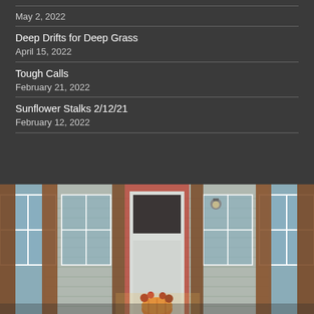May 2, 2022
Deep Drifts for Deep Grass
April 15, 2022
Tough Calls
February 21, 2022
Sunflower Stalks 2/12/21
February 12, 2022
[Figure (photo): Exterior of a rustic house/barn with wooden beam framing, gray siding, white door with a dark upper panel, a wall-mounted lamp, and a decorative pumpkin arrangement on the doorstep. Viewed through vertical wooden beams, warm autumn tones.]